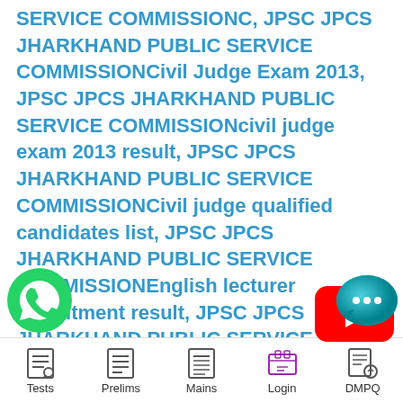SERVICE COMMISSIONC, JPSC JPCS JHARKHAND PUBLIC SERVICE COMMISSIONCivil Judge Exam 2013, JPSC JPCS JHARKHAND PUBLIC SERVICE COMMISSIONcivil judge exam 2013 result, JPSC JPCS JHARKHAND PUBLIC SERVICE COMMISSIONCivil judge qualified candidates list, JPSC JPCS JHARKHAND PUBLIC SERVICE COMMISSIONEnglish lecturer recruitment result, JPSC JPCS JHARKHAND PUBLIC SERVICE COMMISSIONhigher education department lecturer result, JPSC JPCS RKHAND PUBLIC SERVICE
[Figure (logo): YouTube play button red icon]
[Figure (logo): WhatsApp green phone icon]
[Figure (logo): Chat bubble icon in teal/blue]
Tests   Prelims   Mains   Login   DMPQ